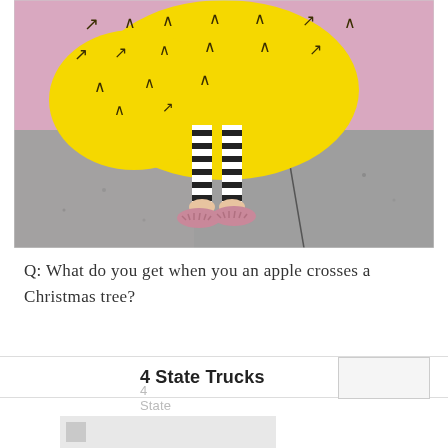[Figure (photo): Child wearing a bright yellow dress with arrow/chevron pattern and black-and-white striped leggings, pink shoes, standing against a pink/lavender wall on a concrete sidewalk. Only the lower half of the child is visible.]
Q: What do you get when you an apple crosses a Christmas tree?
4 State Trucks
4 State Trucks